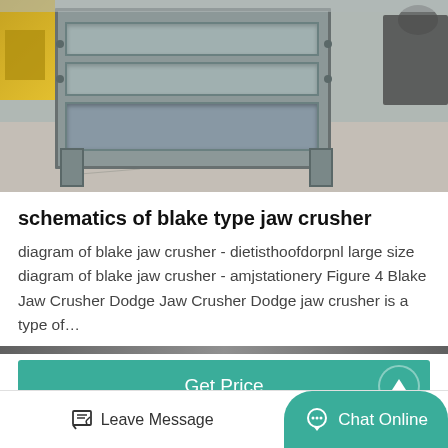[Figure (photo): Industrial metal jaw crusher equipment (Blake type) with horizontal bar grates, photographed outdoors on a concrete surface. Yellow machinery visible on the left, dark equipment on the right.]
schematics of blake type jaw crusher
diagram of blake jaw crusher - dietisthoofdorpnl large size diagram of blake jaw crusher - amjstationery Figure 4 Blake Jaw Crusher Dodge Jaw Crusher Dodge jaw crusher is a type of…
Get Price
Leave Message
Chat Online